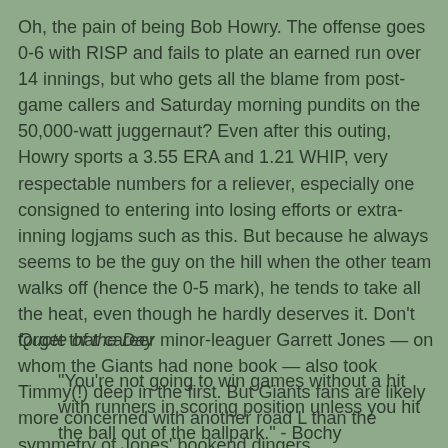Oh, the pain of being Bob Howry. The offense goes 0-6 with RISP and fails to plate an earned run over 14 innings, but who gets all the blame from post-game callers and Saturday morning pundits on the 50,000-watt juggernaut? Even after this outing, Howry sports a 3.55 ERA and 1.21 WHIP, very respectable numbers for a reliever, especially one consigned to entering into losing efforts or extra-inning logjams such as this. But because he always seems to be the guy on the hill when the other team walks off (hence the 0-5 mark), he tends to take all the heat, even though he hardly deserves it. Don't forget that career minor-leaguer Garrett Jones — on whom the Giants had none book — also took Timmy(!) deep in the first. But Giants fans are likely more concerned with another road L than the symmetry of Jones' bookend dingers.
Quote of the Day
"You're not going to win games without a hit with runners in scoring position unless you hit the ball out of the ballpark." - Bochy